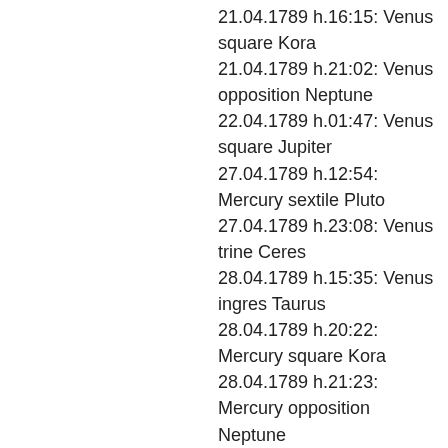21.04.1789 h.16:15: Venus square Kora
21.04.1789 h.21:02: Venus opposition Neptune
22.04.1789 h.01:47: Venus square Jupiter
27.04.1789 h.12:54: Mercury sextile Pluto
27.04.1789 h.23:08: Venus trine Ceres
28.04.1789 h.15:35: Venus ingres Taurus
28.04.1789 h.20:22: Mercury square Kora
28.04.1789 h.21:23: Mercury opposition Neptune
29.04.1789 h.10:31: Venus square Uranus
29.04.1789 h.15:01: Mercury square Jupiter
02.05.1789 h.11:01: Neptune square Kora
02.05.1789 h.22:29: Mercury trine Ceres